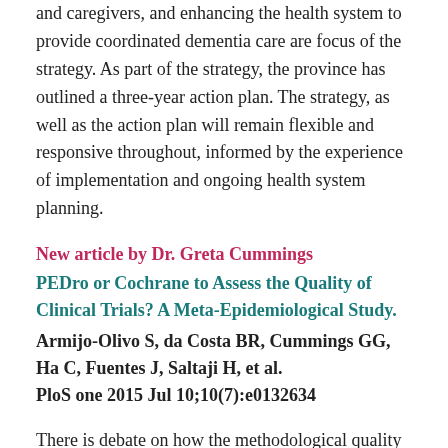and caregivers, and enhancing the health system to provide coordinated dementia care are focus of the strategy. As part of the strategy, the province has outlined a three-year action plan. The strategy, as well as the action plan will remain flexible and responsive throughout, informed by the experience of implementation and ongoing health system planning.
New article by Dr. Greta Cummings
PEDro or Cochrane to Assess the Quality of Clinical Trials? A Meta-Epidemiological Study.
Armijo-Olivo S, da Costa BR, Cummings GG, Ha C, Fuentes J, Saltaji H, et al.
PloS one 2015 Jul 10;10(7):e0132634
There is debate on how the methodological quality of clinical trials should be assessed. We compared trials of